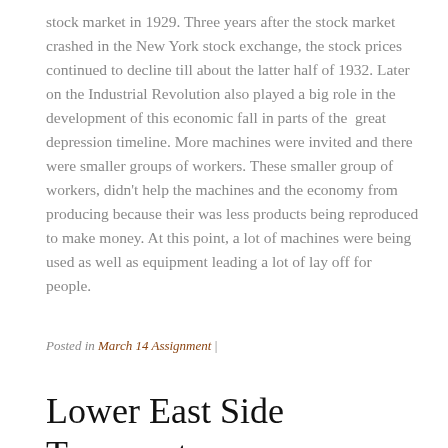stock market in 1929. Three years after the stock market crashed in the New York stock exchange, the stock prices continued to decline till about the latter half of 1932. Later on the Industrial Revolution also played a big role in the development of this economic fall in parts of the  great depression timeline. More machines were invited and there were smaller groups of workers. These smaller group of workers, didn't help the machines and the economy from producing because their was less products being reproduced to make money. At this point, a lot of machines were being used as well as equipment leading a lot of lay off for people.
Posted in March 14 Assignment |
Lower East Side Tenement